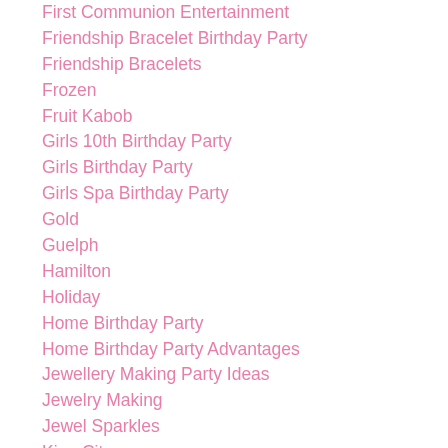Friendship Bracelet Birthday Party
Friendship Bracelets
Frozen
Fruit Kabob
Girls 10th Birthday Party
Girls Birthday Party
Girls Spa Birthday Party
Gold
Guelph
Hamilton
Holiday
Home Birthday Party
Home Birthday Party Advantages
Jewellery Making Party Ideas
Jewelry Making
Jewel Sparkles
King City
King Edward Hotel
Kitchener
Lalaloopsy
Little Mermaid Party